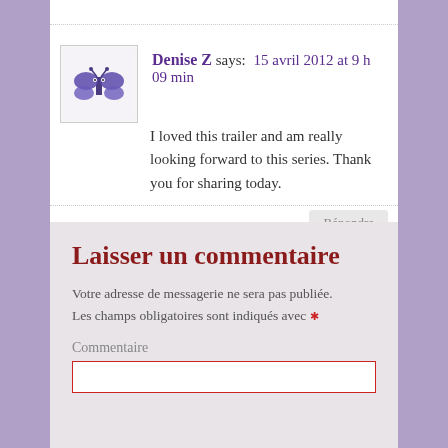Denise Z says: 15 avril 2012 at 9 h 09 min
I loved this trailer and am really looking forward to this series. Thank you for sharing today.
Laisser un commentaire
Votre adresse de messagerie ne sera pas publiée. Les champs obligatoires sont indiqués avec *
Commentaire